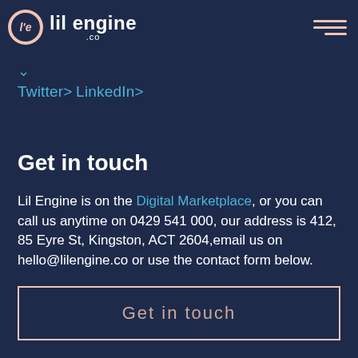lil engine .co
Twitter>
LinkedIn>
Get in touch
Lil Engine is on the Digital Marketplace, or you can call us anytime on 0429 541 000, our address is 412, 85 Eyre St, Kingston, ACT 2604,email us on hello@lilengine.co or use the contact form below.
Get in touch